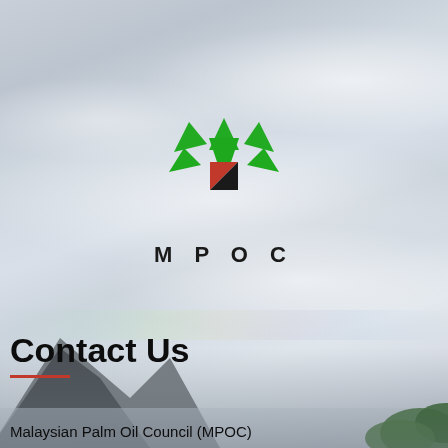[Figure (logo): MPOC logo: green palm-leaf style triangular shapes above a square divided diagonally into red and black, with the text MPOC in bold spaced letters below, set against a misty sky/mountain background photograph.]
Contact Us
Malaysian Palm Oil Council (MPOC)